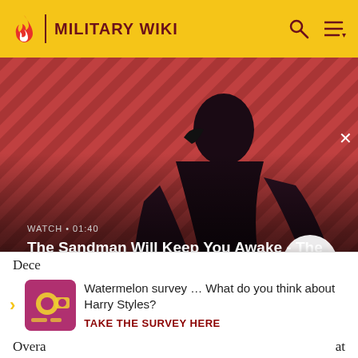MILITARY WIKI
[Figure (screenshot): Video thumbnail showing a man in dark clothing with a raven/crow on his shoulder against a red and black diagonal striped background. Text overlay reads WATCH • 01:40 and title The Sandman Will Keep You Awake - The Loop with a play button.]
force as new or repaired aircraft. It is unknown whether any Ju 87s were built from parts unofficially after
Dece
Watermelon survey … What do you think about Harry Styles?
TAKE THE SURVEY HERE
Overa